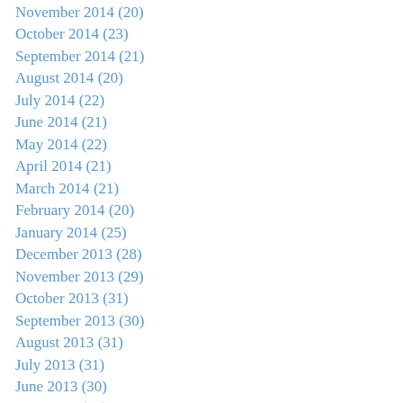November 2014 (20)
October 2014 (23)
September 2014 (21)
August 2014 (20)
July 2014 (22)
June 2014 (21)
May 2014 (22)
April 2014 (21)
March 2014 (21)
February 2014 (20)
January 2014 (25)
December 2013 (28)
November 2013 (29)
October 2013 (31)
September 2013 (30)
August 2013 (31)
July 2013 (31)
June 2013 (30)
May 2013 (31)
April 2013 (29)